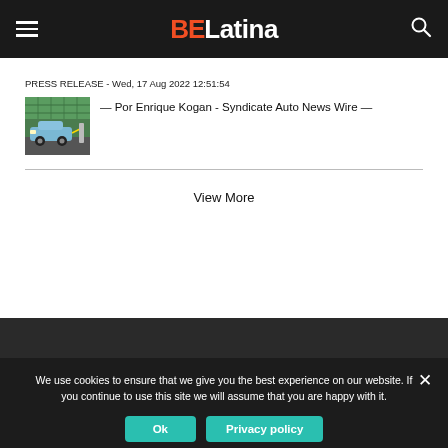BELatina
PRESS RELEASE - Wed, 17 Aug 2022 12:51:54
[Figure (photo): A blue SUV parked near a charging station with colorful background]
— Por Enrique Kogan - Syndicate Auto News Wire —
View More
We use cookies to ensure that we give you the best experience on our website. If you continue to use this site we will assume that you are happy with it.